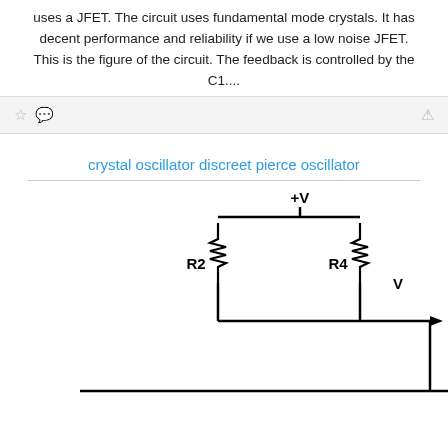uses a JFET. The circuit uses fundamental mode crystals. It has decent performance and reliability if we use a low noise JFET. This is the figure of the circuit. The feedback is controlled by the C1....
crystal oscillator discreet pierce oscillator
[Figure (circuit-diagram): Partial circuit diagram of a crystal oscillator (Pierce oscillator) showing components R2, R4, +V power supply node, output V, and connection lines with ground connections at bottom.]
This website uses cookies to ensure you get the best experience on our website. Learn more
Got it!